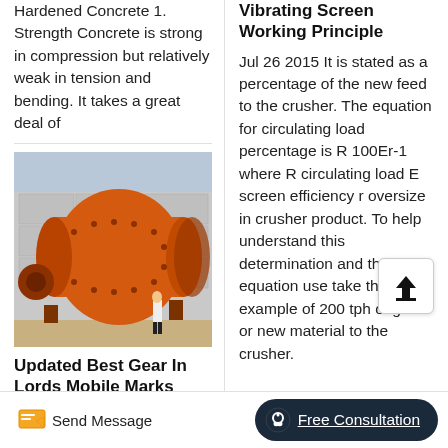Hardened Concrete 1. Strength Concrete is strong in compression but relatively weak in tension and bending. It takes a great deal of
[Figure (photo): Large orange industrial ball mill machine with a person standing next to it for scale, in an industrial yard]
Updated Best Gear In Lords Mobile Marks
Vibrating Screen Working Principle
Jul 26 2015 It is stated as a percentage of the new feed to the crusher. The equation for circulating load percentage is R 100Er-1 where R circulating load E screen efficiency r oversize in crusher product. To help understand this determination and the equation use take the example of 200 tph original or new material to the crusher.
Send Message
Free Consultation